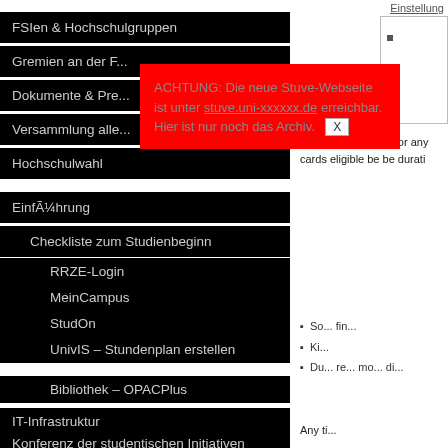FSIen & Hochschulgruppen
Gremien an der F...
Dokumente & Pre...
Versammlung alle...
Hochschulwahl
ACHTUNG: Die neue Stuve-Webseite ist unter [link] erreichbar. Hier ist nur noch das Archiv. X
Einführung
Checkliste zum Studienbeginn
RRZE-Login
MeinCampus
StudOn
UnivIS – Stundenplan erstellen
Bibliothek – OPACPlus
IT-Infrastruktur
Konferenz der studentischen Initiativen
Einstellung
If you feature proce or any cards eligible be be durati
So... fin...
Ki...
Du... re... mo... di...
Any ti...